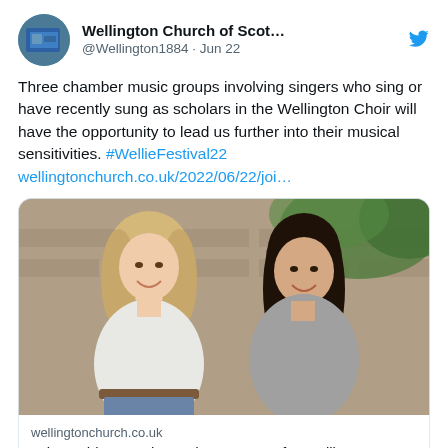Wellington Church of Scot... @Wellington1884 · Jun 22
Three chamber music groups involving singers who sing or have recently sung as scholars in the Wellington Choir will have the opportunity to lead us further into their musical sensitivities. #WellieFestival22 wellingtonchurch.co.uk/2022/06/22/joi…
[Figure (photo): Two young women smiling, one with blonde hair wearing a white long-sleeve top, one with dark hair wearing a grey off-shoulder top, standing in front of a stone wall with green foliage]
wellingtonchurch.co.uk
Join us this Saturday 25th June 2022 for Wellington Scholars & Friends in Concert